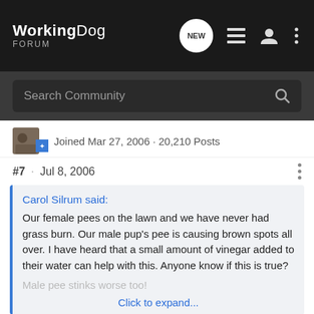WorkingDog FORUM
Search Community
Joined Mar 27, 2006 · 20,210 Posts
#7 · Jul 8, 2006
Carol Silrum said:
Our female pees on the lawn and we have never had grass burn. Our male pup's pee is causing brown spots all over. I have heard that a small amount of vinegar added to their water can help with this. Anyone know if this is true?

Male pee stinks worse too!

Click to expand...
From what I have read, the various additives to food (including vinegar) don't work. The dilution does, I believe........ whether